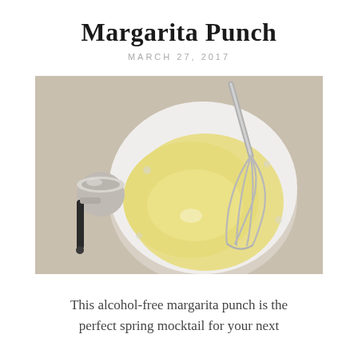Margarita Punch
MARCH 27, 2017
[Figure (photo): Overhead view of a white bowl with a yellow liquid and a metal whisk resting inside it, next to a small silver measuring cup with a black handle, on a light beige surface.]
This alcohol-free margarita punch is the perfect spring mocktail for your next